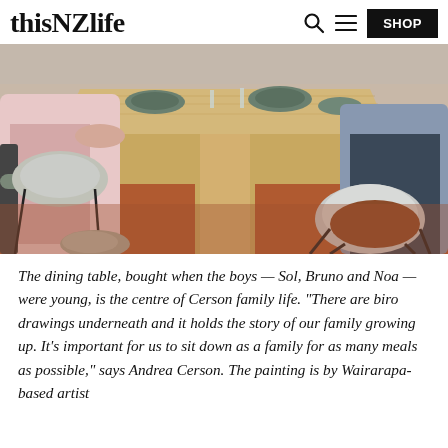thisNZlife | SHOP
[Figure (photo): People seated around a wooden dining table with grey plates and food, in a room with a terracotta-coloured floor. Two chairs with grey shells and brown leather seats are visible.]
The dining table, bought when the boys — Sol, Bruno and Noa — were young, is the centre of Cerson family life. "There are biro drawings underneath and it holds the story of our family growing up. It's important for us to sit down as a family for as many meals as possible," says Andrea Cerson. The painting is by Wairarapa-based artist